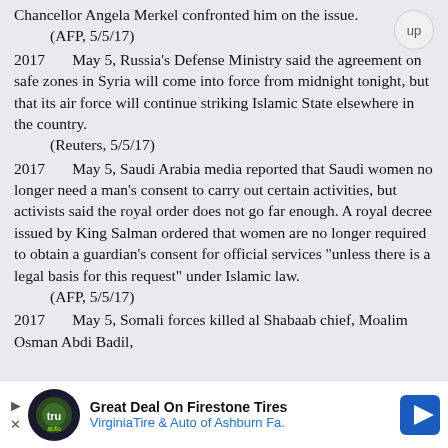Chancellor Angela Merkel confronted him on the issue.
(AFP, 5/5/17)
2017   May 5, Russia's Defense Ministry said the agreement on safe zones in Syria will come into force from midnight tonight, but that its air force will continue striking Islamic State elsewhere in the country.
(Reuters, 5/5/17)
2017   May 5, Saudi Arabia media reported that Saudi women no longer need a man's consent to carry out certain activities, but activists said the royal order does not go far enough. A royal decree issued by King Salman ordered that women are no longer required to obtain a guardian's consent for official services "unless there is a legal basis for this request" under Islamic law.
(AFP, 5/5/17)
2017   May 5, Somali forces killed al Shabaab chief, Moalim Osman Abdi Badil,
[Figure (other): Advertisement banner: Great Deal On Firestone Tires - VirginiaTire & Auto of Ashburn Fa.]